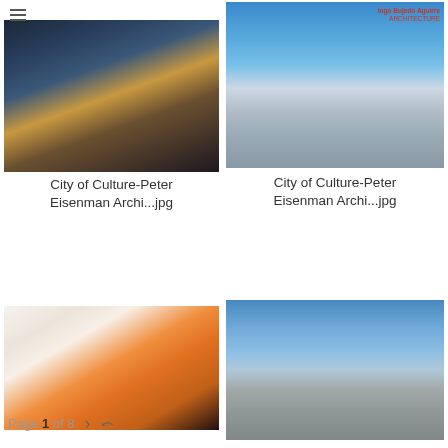Ingo Bujedo Aguirre / hamburger menu
[Figure (photo): Exterior view of a modern building facade with glass panels and stone cladding, illuminated at dusk]
City of Culture-Peter Eisenman Archi...jpg
[Figure (photo): Exterior view of a white angular modern building with a tall chimney-like tower under a blue sky]
City of Culture-Peter Eisenman Archi...jpg
[Figure (photo): Interior view of a modern building with white walls, recessed lighting and orange accent walls]
[Figure (photo): Exterior view of a modern building with stone cladding and geometric roof shapes under blue sky]
City of Culture-Peter
Page 1 of 8